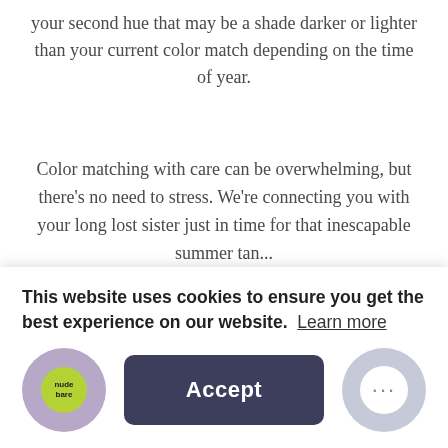your second hue that may be a shade darker or lighter than your current color match depending on the time of year.
Color matching with care can be overwhelming, but there's no need to stress. We're connecting you with your long lost sister just in time for that inescapable summer tan...
Fair skinned hu(e)mans can swap 8am's soft, rosy undertones with 9am's deeper blush coloring in sunnier seasons.
This website uses cookies to ensure you get the best experience on our website. Learn more
Accept